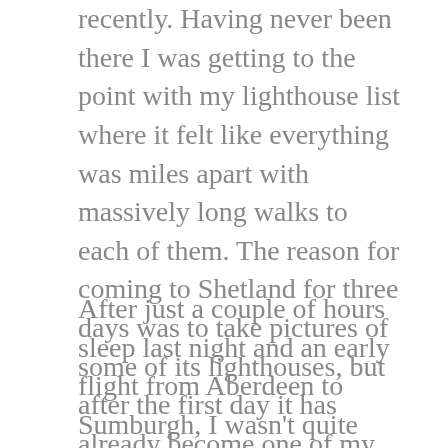recently. Having never been there I was getting to the point with my lighthouse list where it felt like everything was miles apart with massively long walks to each of them. The reason for coming to Shetland for three days was to take pictures of some of its lighthouses, but after the first day it has already become one of my most exciting trips to date.
After just a couple of hours sleep last night and an early flight from Aberdeen to Sumburgh, I wasn't quite bouncing off of the walls with excitement. That soon